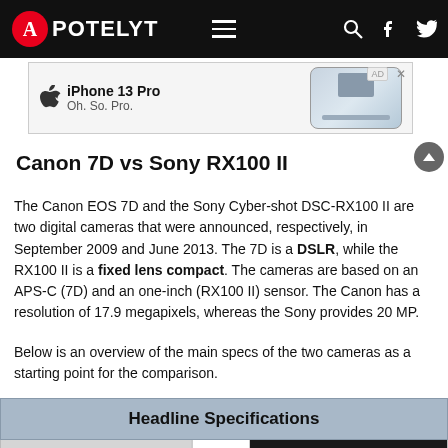APOTELYT
[Figure (screenshot): iPhone 13 Pro advertisement banner with Apple logo and phone image]
Canon 7D vs Sony RX100 II
The Canon EOS 7D and the Sony Cyber-shot DSC-RX100 II are two digital cameras that were announced, respectively, in September 2009 and June 2013. The 7D is a DSLR, while the RX100 II is a fixed lens compact. The cameras are based on an APS-C (7D) and an one-inch (RX100 II) sensor. The Canon has a resolution of 17.9 megapixels, whereas the Sony provides 20 MP.
Below is an overview of the main specs of the two cameras as a starting point for the comparison.
| Headline Specifications |
| --- |